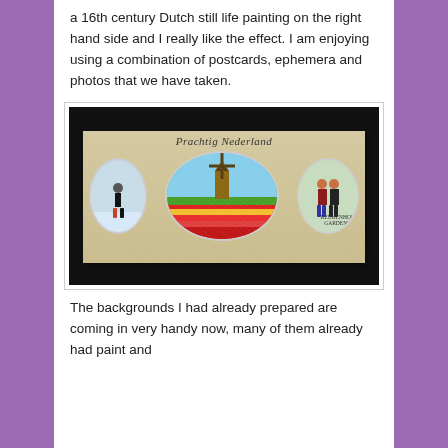a 16th century Dutch still life painting on the right hand side and I really like the effect. I am enjoying using a combination of postcards, ephemera and photos that we have taken.
[Figure (photo): A scrapbook page titled 'Prachtig Nederland' showing three oval-framed photos: a person in a winter scene on the left, a Dutch windmill in a tulip field in the center, and two people at Keukenhof Gardens on the right, with handwritten text and glitter background.]
The backgrounds I had already prepared are coming in very handy now, many of them already had paint and